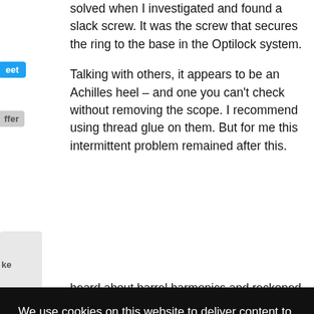solved when I investigated and found a slack screw. It was the screw that secures the ring to the base in the Optilock system.
Talking with others, it appears to be an Achilles heel – and one you can't check without removing the scope. I recommend using thread glue on them. But for me this intermittent problem remained after this.
We use cookies on this website to deliver content to you, personalise content and ads, provide social media features, and analyse our traffic. Click 'I accept' to consent to the use of cookies. More information on cookies and how to manage them click here
heard about barrel harmonics and reckoned the slack